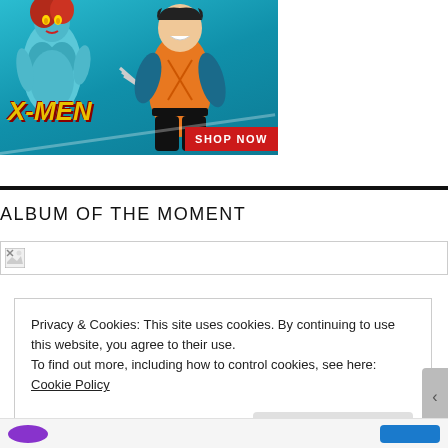[Figure (illustration): X-Men action figures advertisement showing Mystique (blue-skinned female figure) and Wolverine (orange-suited male figure with claws) against a blue background with X-MEN logo text and a red SHOP NOW button]
ALBUM OF THE MOMENT
[Figure (photo): Broken image placeholder for an album photo]
Privacy & Cookies: This site uses cookies. By continuing to use this website, you agree to their use.
To find out more, including how to control cookies, see here: Cookie Policy
Close and accept